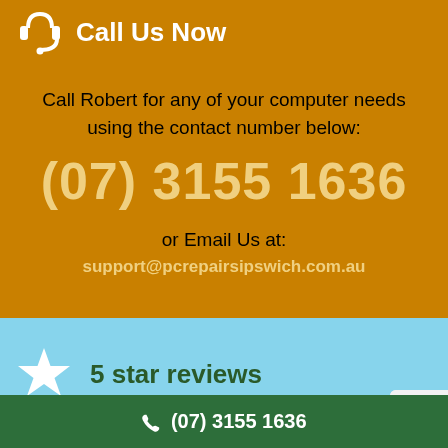Call Us Now
Call Robert for any of your computer needs using the contact number below:
(07) 3155 1636
or Email Us at:
support@pcrepairsipswich.com.au
5 star reviews
(07) 3155 1636